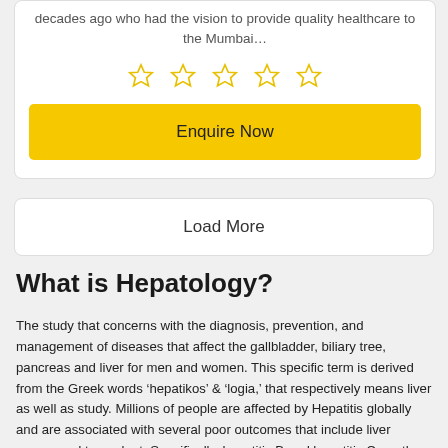decades ago who had the vision to provide quality healthcare to the Mumbai…
[Figure (other): Five empty star rating icons in a row]
Enquire Now
Load More
What is Hepatology?
The study that concerns with the diagnosis, prevention, and management of diseases that affect the gallbladder, biliary tree, pancreas and liver for men and women. This specific term is derived from the Greek words hepatikos & logia, that respectively means liver as well as study. Millions of people are affected by Hepatitis globally and are associated with several poor outcomes that include liver cancer and transplant. Specifically, hepatitis B and hepatitis C are the major causes of liver cancer, whereas alcohol abuse has been linked to the conditions like cirrhosis and other